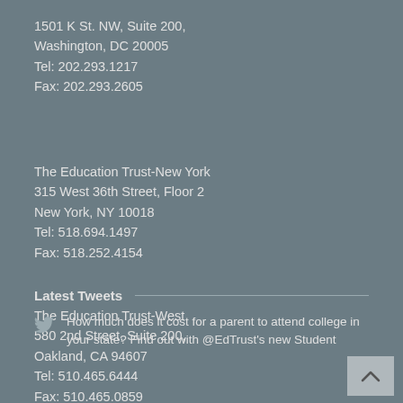1501 K St. NW, Suite 200,
Washington, DC 20005
Tel: 202.293.1217
Fax: 202.293.2605
The Education Trust-New York
315 West 36th Street, Floor 2
New York, NY 10018
Tel: 518.694.1497
Fax: 518.252.4154
The Education Trust-West
580 2nd Street, Suite 200,
Oakland, CA 94607
Tel: 510.465.6444
Fax: 510.465.0859
Latest Tweets
How much does it cost for a parent to attend college in your state? Find out with @EdTrust's new Student